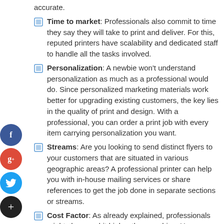accurate.
Time to market: Professionals also commit to time they say they will take to print and deliver. For this, reputed printers have scalability and dedicated staff to handle all the tasks involved.
Personalization: A newbie won't understand personalization as much as a professional would do. Since personalized marketing materials work better for upgrading existing customers, the key lies in the quality of print and design. With a professional, you can order a print job with every item carrying personalization you want.
Streams: Are you looking to send distinct flyers to your customers that are situated in various geographic areas? A professional printer can help you with in-house mailing services or share references to get the job done in separate sections or streams.
Cost Factor: As already explained, professionals might charge a bit higher than newbies. However, it's justified for the quality and professionalism you get. Plus, you might get